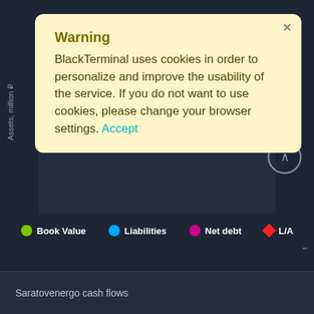[Figure (screenshot): Dark-themed financial chart interface (BlackTerminal) showing asset chart area with Y-axis labels 'Assets, million ₽' on the left and 'sets, %' on the right. A cookie warning modal overlays the chart. Below the chart is a legend with Book Value (green dot), Liabilities (blue dot), Net debt (pink dot), L/A (red diamond). A scroll-up button appears. At the bottom is a section labeled 'Saratovenergo cash flows'.]
Warning
BlackTerminal uses cookies in order to personalize and improve the usability of the service. If you do not want to use cookies, please change your browser settings. Accept
Book Value   Liabilities   Net debt   L/A
Saratovenergo cash flows